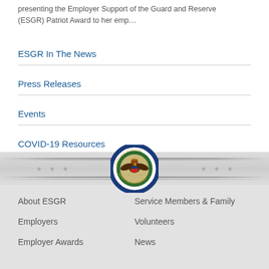presenting the Employer Support of the Guard and Reserve (ESGR) Patriot Award to her emp...
ESGR In The News
Press Releases
Events
COVID-19 Resources
[Figure (logo): Department of Defense seal in circular blue border, centered in footer divider area]
About ESGR
Service Members & Family
Employers
Volunteers
Employer Awards
News